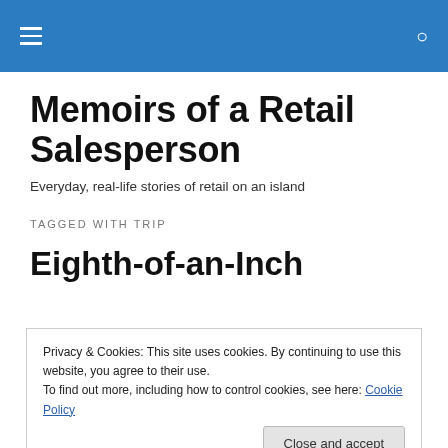Memoirs of a Retail Salesperson — site navigation header bar
Memoirs of a Retail Salesperson
Everyday, real-life stories of retail on an island
TAGGED WITH TRIP
Eighth-of-an-Inch
Privacy & Cookies: This site uses cookies. By continuing to use this website, you agree to their use.
To find out more, including how to control cookies, see here: Cookie Policy
normal street crack, but one day I had to find out how